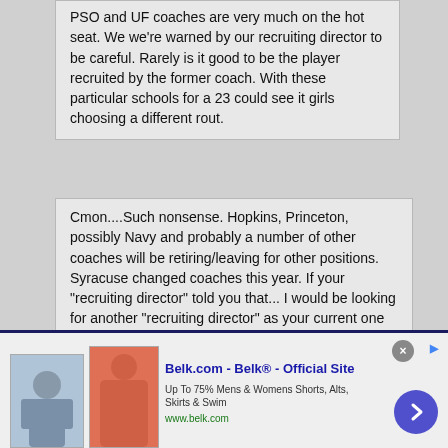PSO and UF coaches are very much on the hot seat. We we're warned by our recruiting director to be careful. Rarely is it good to be the player recruited by the former coach. With these particular schools for a 23 could see it girls choosing a different rout.
Cmon....Such nonsense. Hopkins, Princeton, possibly Navy and probably a number of other coaches will be retiring/leaving for other positions. Syracuse changed coaches this year. If your "recruiting director" told you that... I would be looking for another "recruiting director" as your current one appears incompetent.
There are coaching changes all the time. To not consider a school because there could possibly be a coaching change is a bit narrow minded.
[Figure (screenshot): Advertisement for Belk.com showing clothing images, title 'Belk.com - Belk® - Official Site', subtitle 'Up To 75% Mens & Womens Shorts, Alts, Skirts & Swim', url 'www.belk.com', with a blue arrow button and close X button]